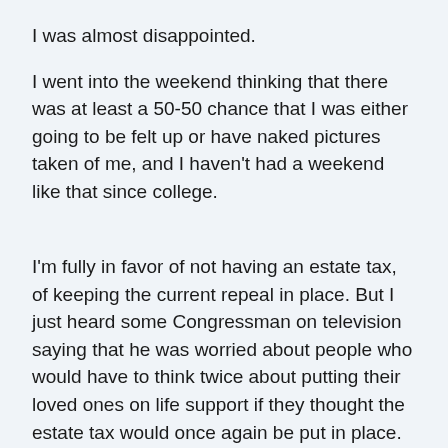I was almost disappointed.
I went into the weekend thinking that there was at least a 50-50 chance that I was either going to be felt up or have naked pictures taken of me, and I haven't had a weekend like that since college.
I'm fully in favor of not having an estate tax, of keeping the current repeal in place. But I just heard some Congressman on television saying that he was worried about people who would have to think twice about putting their loved ones on life support if they thought the estate tax would once again be put in place.
And all I could think to myself is that if someone has to think twice about life